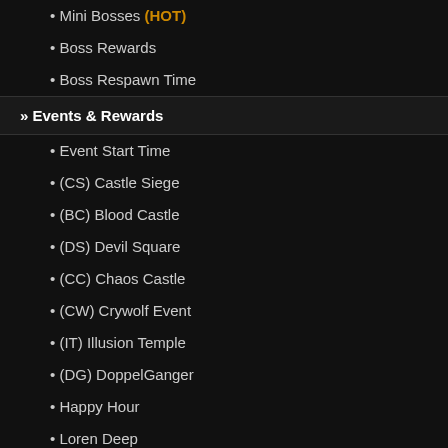Mini Bosses (HOT)
Boss Rewards
Boss Respawn Time
» Events & Rewards
Event Start Time
(CS) Castle Siege
(BC) Blood Castle
(DS) Devil Square
(CC) Chaos Castle
(CW) Crywolf Event
(IT) Illusion Temple
(DG) DoppelGanger
Happy Hour
Loren Deep
Golden Invasion
Land of Trials (LOT)
GM Events
TOP Voter of the Month (HOT)